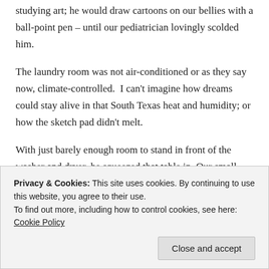studying art; he would draw cartoons on our bellies with a ball-point pen – until our pediatrician lovingly scolded him.
The laundry room was not air-conditioned or as they say now, climate-controlled.  I can't imagine how dreams could stay alive in that South Texas heat and humidity; or how the sketch pad didn't melt.
With just barely enough room to stand in front of the washer and dryer, he squeezed that table in. Our small house was already crowded. We didn't just bring home abandoned dogs; one of us was regularly bringing home a stray kid.
Privacy & Cookies: This site uses cookies. By continuing to use this website, you agree to their use.
To find out more, including how to control cookies, see here: Cookie Policy
Close and accept
and Carol King. He painted the boy's room with black